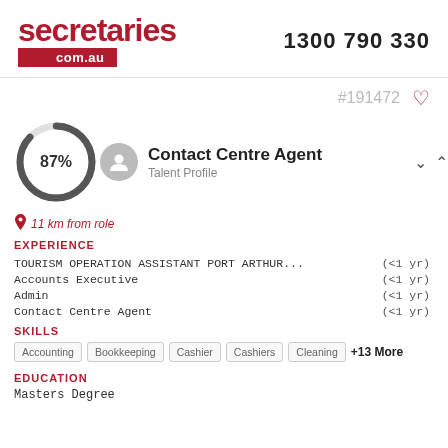[Figure (logo): secretaries.com.au logo in red with phone number 1300 790 330]
#191472
[Figure (infographic): Circular progress donut chart showing 87% with a user avatar icon, title Contact Centre Agent, Talent Profile]
11 km from role
EXPERIENCE
TOURISM OPERATION ASSISTANT PORT ARTHUR... (<1 yr)
Accounts Executive (<1 yr)
Admin (<1 yr)
Contact Centre Agent (<1 yr)
SKILLS
Accounting  Bookkeeping  Cashier  Cashiers  Cleaning  +13 More
EDUCATION
Masters Degree